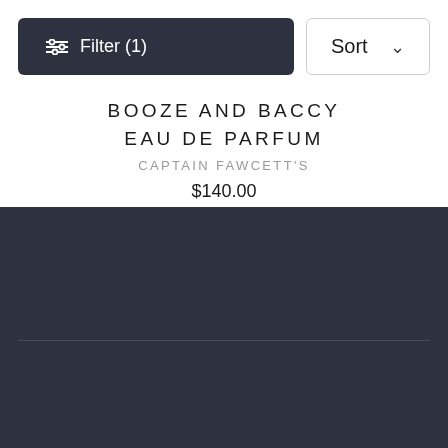Filter (1)
Sort
BOOZE AND BACCY EAU DE PARFUM
CAPTAIN FAWCETT'S
$140.00
Our Story
Contact Us
Returns and Exchanges